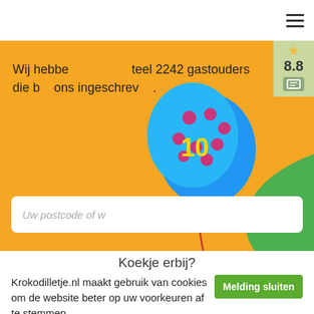[Figure (illustration): Website screenshot showing an orange hero banner with a cartoon crocodile wearing a birthday hat with '10' on it, a blue polka-dot balloon with '10', and text 'Wij hebben... teel 2242 gastouders die bij ons ingeschreven.' with a search input field 'Uw postcode of w...' and a rating badge showing 8.8 with a star.]
Koekje erbij?
Krokodilletje.nl maakt gebruik van cookies om de website beter op uw voorkeuren af te stemmen.
Melding sluiten
Klik hier voor meer informatie over onze cookies